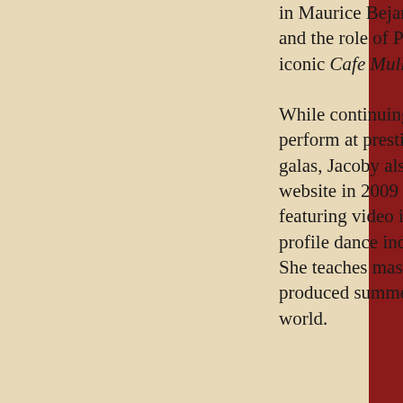in Maurice Bejart'slegendary Bolero and the role of Pina Bausch in her iconic Cafe Muller.

While continuing to produce and perform at prestigious international galas, Jacoby also founded a media website in 2009 called DancePulp.com featuring video interviews with high profile dance industry professionals. She teaches master classes and has co-produced summer programs across the world.